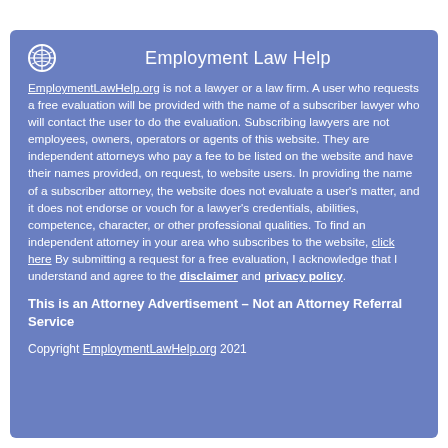Employment Law Help
EmploymentLawHelp.org is not a lawyer or a law firm. A user who requests a free evaluation will be provided with the name of a subscriber lawyer who will contact the user to do the evaluation. Subscribing lawyers are not employees, owners, operators or agents of this website. They are independent attorneys who pay a fee to be listed on the website and have their names provided, on request, to website users. In providing the name of a subscriber attorney, the website does not evaluate a user's matter, and it does not endorse or vouch for a lawyer's credentials, abilities, competence, character, or other professional qualities. To find an independent attorney in your area who subscribes to the website, click here By submitting a request for a free evaluation, I acknowledge that I understand and agree to the disclaimer and privacy policy.
This is an Attorney Advertisement – Not an Attorney Referral Service
Copyright EmploymentLawHelp.org 2021